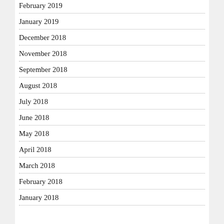February 2019
January 2019
December 2018
November 2018
September 2018
August 2018
July 2018
June 2018
May 2018
April 2018
March 2018
February 2018
January 2018